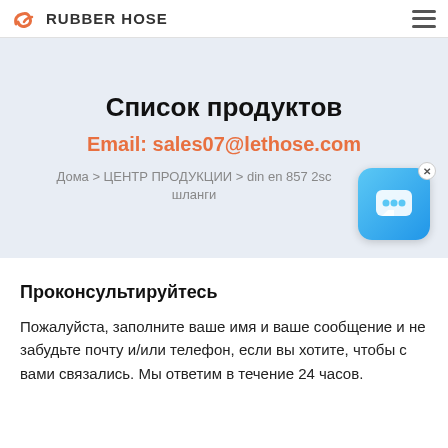RUBBER HOSE
Список продуктов
Email: sales07@lethose.com
Дома > ЦЕНТР ПРОДУКЦИИ > din en 857 2sc шланги
Проконсультируйтесь
Пожалуйста, заполните ваше имя и ваше сообщение и не забудьте почту и/или телефон, если вы хотите, чтобы с вами связались. Мы ответим в течение 24 часов.